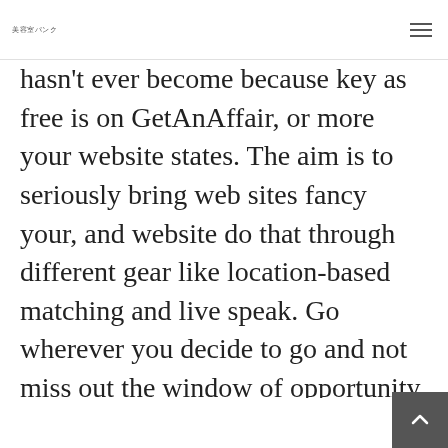美容室パンク
hasn't ever become because key as free is on GetAnAffair, or more your website states. The aim is to seriously bring web sites fancy your, and website do that through different gear like location-based matching and live speak. Go wherever you decide to go and not miss out the window of opportunity for a casual encounter. For those real-life individuals who are in fact trying to find an affair and want to keep it about downlow, you can easily check out these 15 internet! Cover graphics origin indiewire.